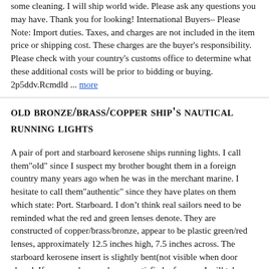some cleaning. I will ship world wide. Please ask any questions you may have. Thank you for looking! International Buyers– Please Note: Import duties. Taxes, and charges are not included in the item price or shipping cost. These charges are the buyer's responsibility. Please check with your country's customs office to determine what these additional costs will be prior to bidding or buying. 2p5ddv.Rcmdld ... more
old Bronze/brass/copper ship's nautical running lights
A pair of port and starboard kerosene ships running lights. I call them"old" since I suspect my brother bought them in a foreign country many years ago when he was in the merchant marine. I hesitate to call them"authentic" since they have plates on them which state: Port. Starboard. I don't think real sailors need to be reminded what the red and green lenses denote. They are constructed of copper/brass/bronze, appear to be plastic green/red lenses, approximately 12.5 inches high, 7.5 inches across. The starboard kerosene insert is slightly bent(not visible when door closed. If you purchase and are unsatisfied, of course I will take them back for a refund(only minus shipping)
Ray Line Brass, Bronze & Copper Nautical Ship Searchlight Light Free Shipping!
Ray Line Brass.Bronze& Copper Nautical Ship Searchlight Light Free Shipping! Ray Line Brass. Bronze& Copper Nautical Ship Searchlight The body of the light is copper. The gear mechanism is bronze. The remainder is made of brass Untested but it was working when taken out of service The light is 8" in diameter by 6" deep The whole unit measures 24" long in total. I believe it is 12 volt and the bulb(broken) said B19 on it. It has two contacts in the socket like an automotive